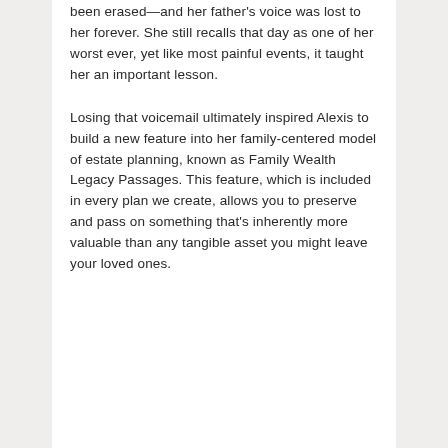been erased—and her father's voice was lost to her forever. She still recalls that day as one of her worst ever, yet like most painful events, it taught her an important lesson.
Losing that voicemail ultimately inspired Alexis to build a new feature into her family-centered model of estate planning, known as Family Wealth Legacy Passages. This feature, which is included in every plan we create, allows you to preserve and pass on something that's inherently more valuable than any tangible asset you might leave your loved ones.